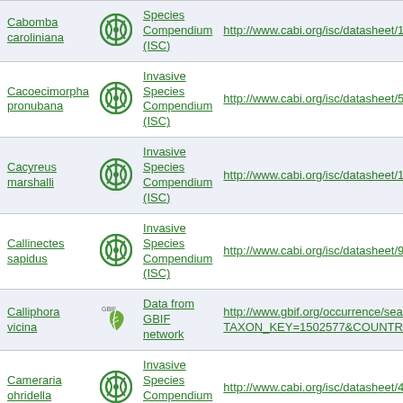| Species | Source logo | Source name | URL |
| --- | --- | --- | --- |
| Cabomba caroliniana | CABI | Species Compendium (ISC) | http://www.cabi.org/isc/datasheet/10774 |
| Cacoecimorpha pronubana | CABI | Invasive Species Compendium (ISC) | http://www.cabi.org/isc/datasheet/54205 |
| Cacyreus marshalli | CABI | Invasive Species Compendium (ISC) | http://www.cabi.org/isc/datasheet/10683 |
| Callinectes sapidus | CABI | Invasive Species Compendium (ISC) | http://www.cabi.org/isc/datasheet/90126 |
| Calliphora vicina | GBIF | Data from GBIF network | http://www.gbif.org/occurrence/search?TAXON_KEY=1502577&COUNTRY=NL |
| Cameraria ohridella | CABI | Invasive Species Compendium (ISC) | http://www.cabi.org/isc/datasheet/40598 |